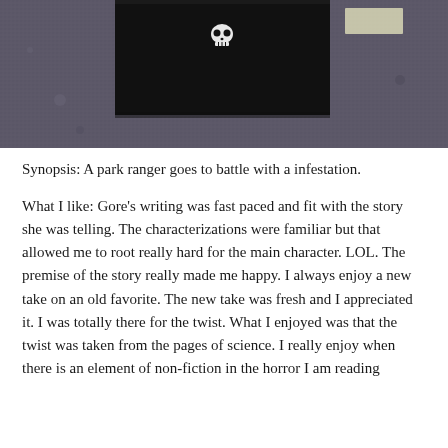[Figure (photo): A dark photograph showing a black card/book with a skull design on a textured gray stone surface. A piece of light-colored tape is visible in the upper right corner.]
Synopsis: A park ranger goes to battle with a infestation.
What I like: Gore’s writing was fast paced and fit with the story she was telling. The characterizations were familiar but that allowed me to root really hard for the main character. LOL. The premise of the story really made me happy. I always enjoy a new take on an old favorite. The new take was fresh and I appreciated it. I was totally there for the twist. What I enjoyed was that the twist was taken from the pages of science. I really enjoy when there is an element of non-fiction in the horror I am reading